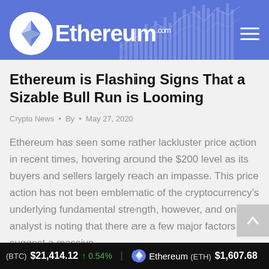Ethereum.com
Ethereum is Flashing Signs That a Sizable Bull Run is Looming
Crypto News • By • May 27, 2020
Ethereum has seen some rather lackluster price action in recent times, hovering around the $200 level as its buyers and sellers largely reach an impasse. This price action has not been emblematic of the cryptocurrency's underlying fundamental strength, however, and one analyst is noting that there are a few major factors that suggest a massive…
(BTC) $21,414.12 ↑ 0.54%  Ethereum (ETH) $1,607.68